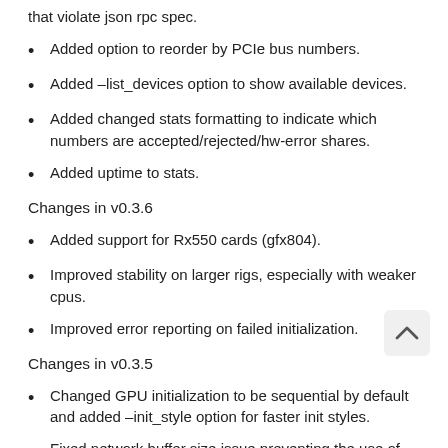that violate json rpc spec.
Added option to reorder by PCIe bus numbers.
Added –list_devices option to show available devices.
Added changed stats formatting to indicate which numbers are accepted/rejected/hw-error shares.
Added uptime to stats.
Changes in v0.3.6
Added support for Rx550 cards (gfx804).
Improved stability on larger rigs, especially with weaker cpus.
Improved error reporting on failed initialization.
Changes in v0.3.5
Changed GPU initialization to be sequential by default and added –init_style option for faster init styles.
Fixed network buffer size issue preventing the use of very long usernames/passwords/rig_ids.